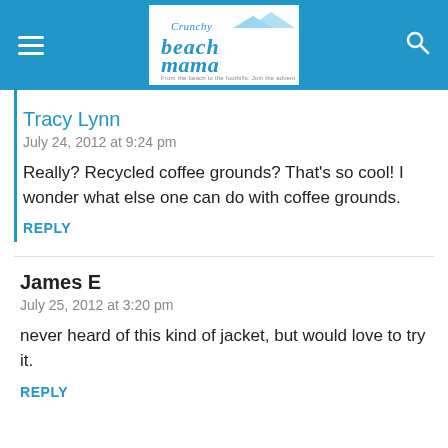[Figure (logo): Crunchy Beach Mama blog logo with mountain and beach illustration, text reads 'From the beach to the foothills. Join the adventure!']
Tracy Lynn
July 24, 2012 at 9:24 pm
Really? Recycled coffee grounds? That's so cool! I wonder what else one can do with coffee grounds.
REPLY
James E
July 25, 2012 at 3:20 pm
never heard of this kind of jacket, but would love to try it.
REPLY